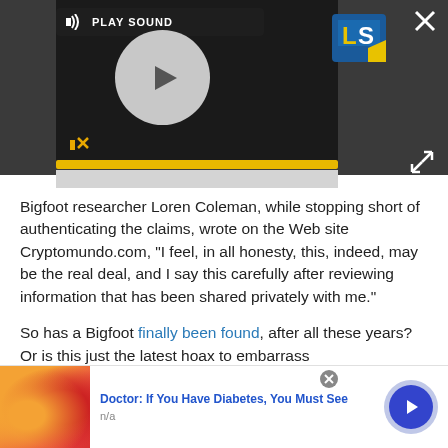[Figure (screenshot): Video/audio player widget with dark background, play button circle, PLAY SOUND label, LS logo, mute icon, yellow progress bar, expand and close icons, and a gray loading bar beneath.]
Bigfoot researcher Loren Coleman, while stopping short of authenticating the claims, wrote on the Web site Cryptomundo.com, "I feel, in all honesty, this, indeed, may be the real deal, and I say this carefully after reviewing information that has been shared privately with me."
So has a Bigfoot finally been found, after all these years? Or is this just the latest hoax to embarrass
[Figure (screenshot): Advertisement banner: orange/red candy image on left, blue bold text 'Doctor: If You Have Diabetes, You Must See', gray 'n/a' subtext, close circle button, and a blue arrow circle button on right.]